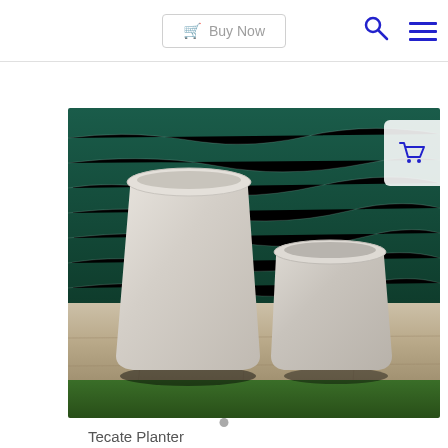Buy Now
[Figure (photo): Two white/light grey square tapered ceramic/concrete planters of different sizes sitting on a stone patio beside a pool with dark teal water in the background and grass below. The planters have rounded top edges and a textured concrete-like finish.]
Tecate Planter